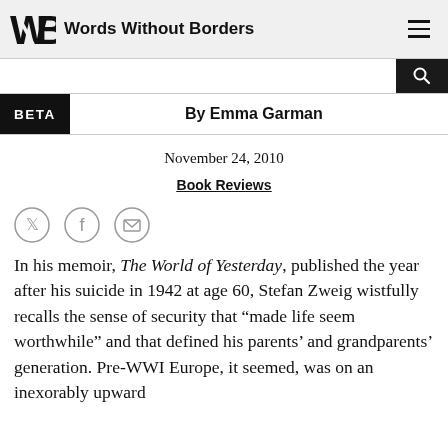Words Without Borders
By Emma Garman
November 24, 2010
Book Reviews
In his memoir, The World of Yesterday, published the year after his suicide in 1942 at age 60, Stefan Zweig wistfully recalls the sense of security that “made life seem worthwhile” and that defined his parents’ and grandparents’ generation. Pre-WWI Europe, it seemed, was on an inexorably upward